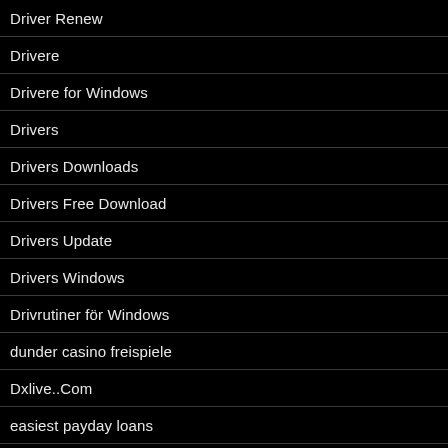Driver Renew
Drivere
Drivere for Windows
Drivers
Drivers Downloads
Drivers Free Download
Drivers Update
Drivers Windows
Drivrutiner för Windows
dunder casino freispiele
Dxlive..Com
easiest payday loans
East Meet East Review